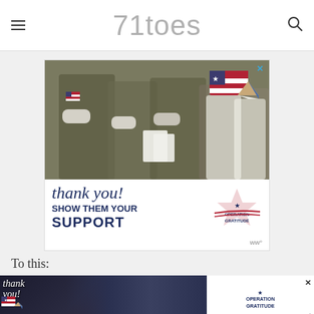71toes
[Figure (photo): Advertisement from Operation Gratitude showing military personnel with masks and a 'thank you! Show them your support' message with pencil and flag graphic]
To this:
[Figure (photo): Second Operation Gratitude advertisement banner showing firefighters with a 'thank you' message and Operation Gratitude logo at the bottom of the page]